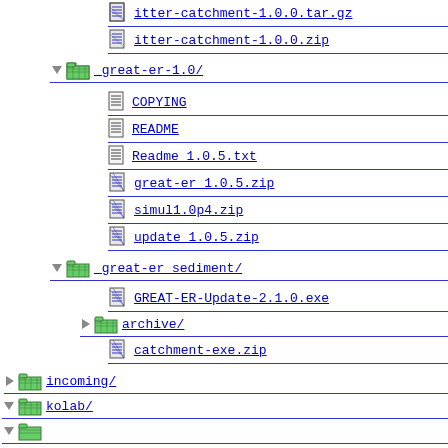itter-catchment-1.0.0.tar.gz
itter-catchment-1.0.0.zip
_great-er-1.0/
COPYING
README
Readme 1.0.5.txt
great-er 1.0.5.zip
simul1.0p4.zip
update 1.0.5.zip
_great-er sediment/
GREAT-ER-Update-2.1.0.exe
archive/
catchment-exe.zip
incoming/
kolab/